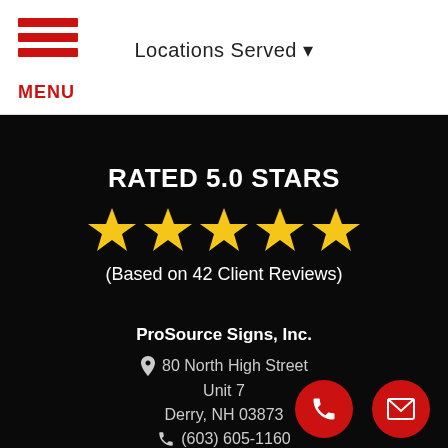Locations Served ▼
RATED 5.0 STARS
[Figure (illustration): Five gold star icons representing a 5.0 star rating]
(Based on 42 Client Reviews)
ProSource Signs, Inc.
80 North High Street
Unit 7
Derry, NH 03873
(603) 605-1160
9am to 5pm Mon-Fri